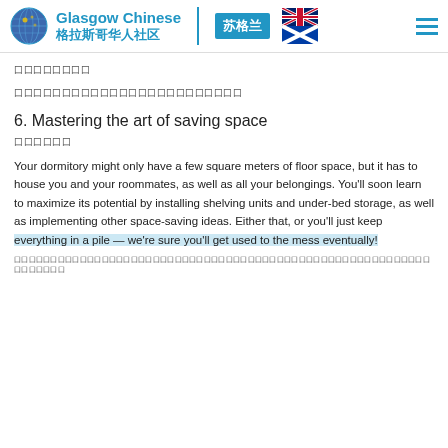Glasgow Chinese 格拉斯哥华人社区 | 苏格兰
囗囗囗囗囗囗囗囗
囗囗囗囗囗囗囗囗囗囗囗囗囗囗囗囗囗囗囗囗囗囗囗囗
6. Mastering the art of saving space
囗囗囗囗囗囗
Your dormitory might only have a few square meters of floor space, but it has to house you and your roommates, as well as all your belongings. You'll soon learn to maximize its potential by installing shelving units and under-bed storage, as well as implementing other space-saving ideas. Either that, or you'll just keep everything in a pile — we're sure you'll get used to the mess eventually!
囗囗囗囗囗囗囗囗囗囗囗囗囗囗囗囗囗囗囗囗囗囗囗囗囗囗囗囗囗囗囗囗囗囗囗囗囗囗囗囗囗囗囗囗囗囗囗囗囗囗囗囗囗囗囗囗囗囗囗囗囗囗囗囗